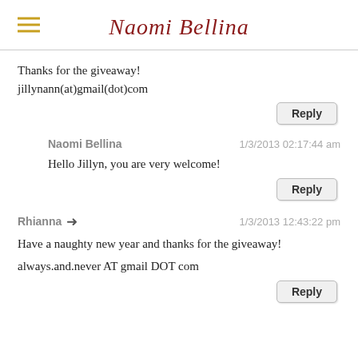Naomi Bellina
Thanks for the giveaway!
jillynann(at)gmail(dot)com
Reply
Naomi Bellina   1/3/2013 02:17:44 am
Hello Jillyn, you are very welcome!
Reply
Rhianna   1/3/2013 12:43:22 pm
Have a naughty new year and thanks for the giveaway!
always.and.never AT gmail DOT com
Reply